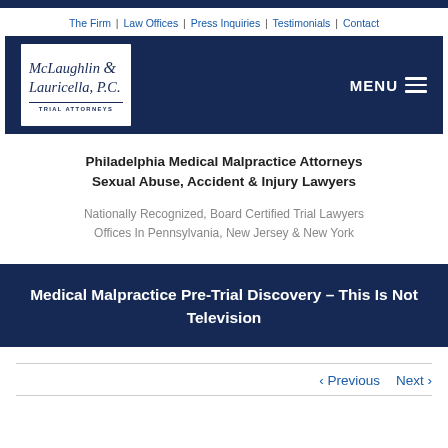The Firm | Law Offices | Press Inquiries | Testimonials | Contact
[Figure (logo): McLaughlin & Lauricella, P.C. Trial Attorneys logo with MENU hamburger icon on dark navy header banner]
Philadelphia Medical Malpractice Attorneys Sexual Abuse, Accident & Injury Lawyers
Nationally Recognized, Board Certified Trial Lawyers Offices In Pennsylvania, New Jersey & New York
Medical Malpractice Pre-Trial Discovery – This Is Not Television
< Previous   Next >